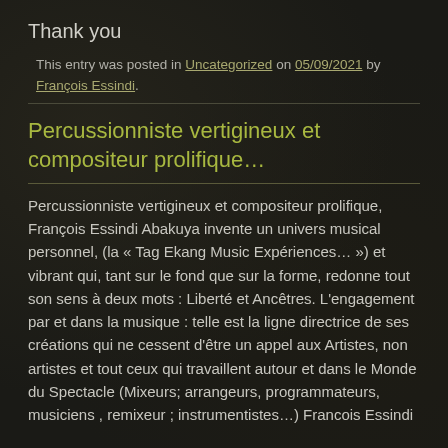Thank you
This entry was posted in Uncategorized on 05/09/2021 by François Essindi.
Percussionniste vertigineux et compositeur prolifique...
Percussionniste vertigineux et compositeur prolifique, François Essindi Abakuya invente un univers musical personnel, (la « Tag Ekang Music Expériences… ») et vibrant qui, tant sur le fond que sur la forme, redonne tout son sens à deux mots : Liberté et Ancêtres. L'engagement par et dans la musique : telle est la ligne directrice de ses créations qui ne cessent d'être un appel aux Artistes, non artistes et tout ceux qui travaillent autour et dans le Monde du Spectacle (Mixeurs; arrangeurs, programmateurs, musiciens , remixeur ; instrumentistes…) Francois Essindi